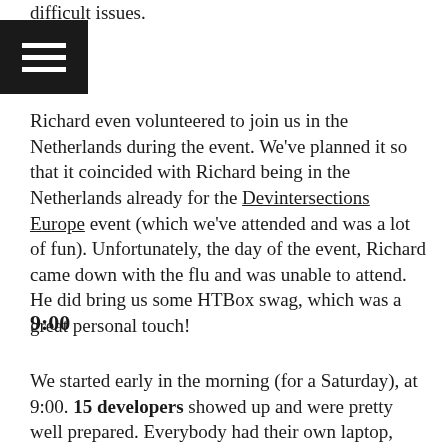difficult issues.
[Figure (other): Hamburger menu icon — three horizontal white lines on a black square background]
Richard even volunteered to join us in the Netherlands during the event. We've planned it so that it coincided with Richard being in the Netherlands already for the Devintersections Europe event (which we've attended and was a lot of fun). Unfortunately, the day of the event, Richard came down with the flu and was unable to attend. He did bring us some HTBox swag, which was a great personal touch!
9:00
We started early in the morning (for a Saturday), at 9:00. 15 developers showed up and were pretty well prepared. Everybody had their own laptop, with most of the prerequisites